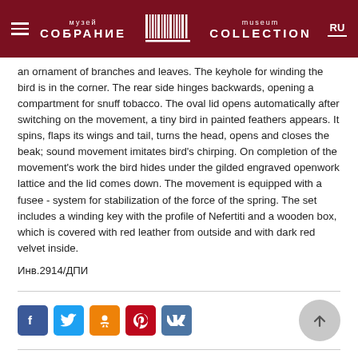музей СОБРАНИЕ | Museum COLLECTION | RU
an ornament of branches and leaves. The keyhole for winding the bird is in the corner. The rear side hinges backwards, opening a compartment for snuff tobacco. The oval lid opens automatically after switching on the movement, a tiny bird in painted feathers appears. It spins, flaps its wings and tail, turns the head, opens and closes the beak; sound movement imitates bird's chirping. On completion of the movement's work the bird hides under the gilded engraved openwork lattice and the lid comes down. The movement is equipped with a fusee - system for stabilization of the force of the spring. The set includes a winding key with the profile of Nefertiti and a wooden box, which is covered with red leather from outside and with dark red velvet inside.
Инв.2914/ДПИ
[Figure (other): Row of social media icons: Facebook (blue), Twitter (light blue), Odnoklassniki (orange), Pinterest (red), VKontakte (blue), and a scroll-to-top circular button]